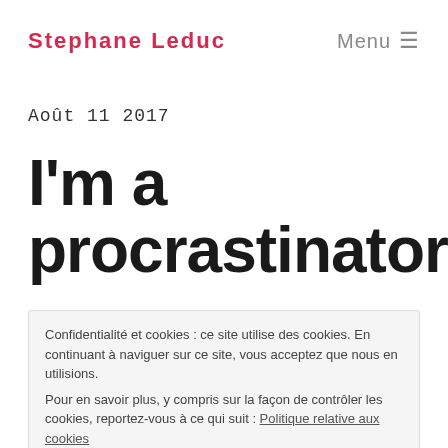Stephane Leduc   Menu ≡
Août 11 2017
I'm a procrastinator
Confidentialité et cookies : ce site utilise des cookies. En continuant à naviguer sur ce site, vous acceptez que nous en utilisions.
Pour en savoir plus, y compris sur la façon de contrôler les cookies, reportez-vous à ce qui suit : Politique relative aux cookies
Fermer et accepter
Hi, my name is Stéphane Leduc and I'm a procrastinator.
I am not the only one, we all are, were and will always be